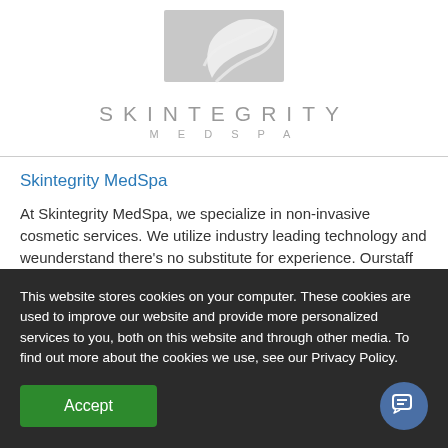[Figure (logo): Skintegrity MedSpa logo: gray hand/leaf graphic above text 'SKINTEGRITY MEDSPA']
Skintegrity MedSpa
At Skintegrity MedSpa, we specialize in non-invasive cosmetic services. We utilize industry leading technology and weunderstand there's no substitute for experience. Ourstaff has decades of experi...
Marketplace Offer
★★★★★ (1)
This website stores cookies on your computer. These cookies are used to improve our website and provide more personalized services to you, both on this website and through other media. To find out more about the cookies we use, see our Privacy Policy.